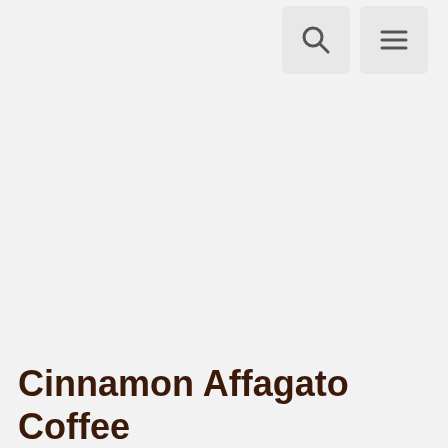[Search icon] [Menu icon]
Cinnamon Affagato Coffee